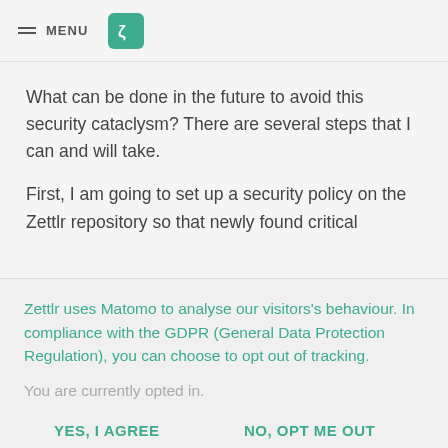MENU
What can be done in the future to avoid this security cataclysm? There are several steps that I can and will take.
First, I am going to set up a security policy on the Zettlr repository so that newly found critical
Zettlr uses Matomo to analyse our visitors's behaviour. In compliance with the GDPR (General Data Protection Regulation), you can choose to opt out of tracking.
You are currently opted in.
YES, I AGREE
NO, OPT ME OUT